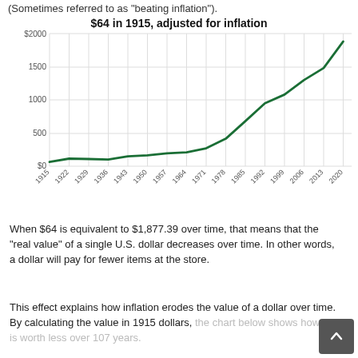(Sometimes referred to as "beating inflation").
[Figure (line-chart): $64 in 1915, adjusted for inflation]
When $64 is equivalent to $1,877.39 over time, that means that the "real value" of a single U.S. dollar decreases over time. In other words, a dollar will pay for fewer items at the store.
This effect explains how inflation erodes the value of a dollar over time. By calculating the value in 1915 dollars, the chart below shows how $64 is worth less over 107 years.